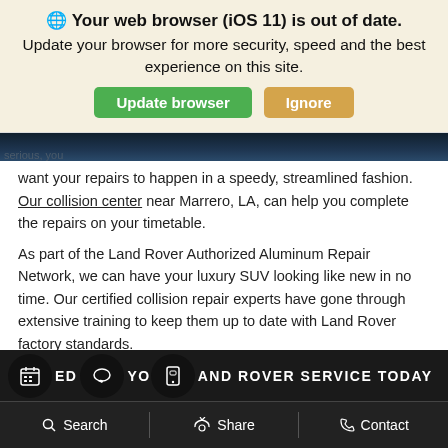[Figure (screenshot): Browser update notification banner with globe icon, bold warning text, and two buttons: green 'Update browser' and tan 'Ignore']
[Figure (photo): Partial dark image strip — appears to be a Land Rover vehicle photo cropped at top]
serious, you want your repairs to happen in a speedy, streamlined fashion. Our collision center near Marrero, LA, can help you complete the repairs on your timetable.
As part of the Land Rover Authorized Aluminum Repair Network, we can have your luxury SUV looking like new in no time. Our certified collision repair experts have gone through extensive training to keep them up to date with Land Rover factory standards.
We work with a wide range of insurance companies to provide repair after a collision. You'll get all the parts and service your Land Rover needs to run at its best.
ED YOUR LAND ROVER SERVICE TODAY
Search   Share   Contact